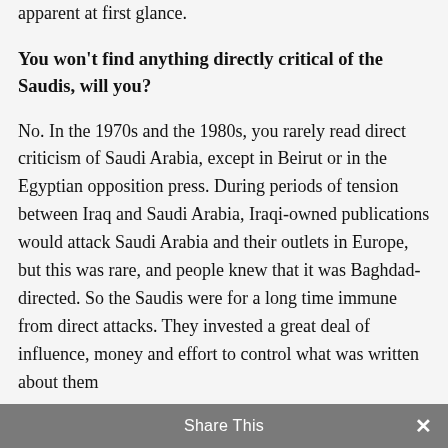apparent at first glance.
You won't find anything directly critical of the Saudis, will you?
No. In the 1970s and the 1980s, you rarely read direct criticism of Saudi Arabia, except in Beirut or in the Egyptian opposition press. During periods of tension between Iraq and Saudi Arabia, Iraqi-owned publications would attack Saudi Arabia and their outlets in Europe, but this was rare, and people knew that it was Baghdad-directed. So the Saudis were for a long time immune from direct attacks. They invested a great deal of influence, money and effort to control what was written about them
Share This ×